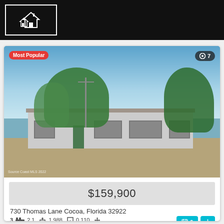[Figure (logo): Dark header bar with white house icon in a white-bordered box]
[Figure (photo): Exterior photo of a single-story ranch-style home at 730 Thomas Lane, Cocoa, Florida. White stucco home with large trees behind it, front yard with dry grass. 'Most Popular' red badge top-left, eye icon with '7' top-right, 'Source Coast MLS 2022' watermark bottom-left.]
$159,900
730 Thomas Lane Cocoa, Florida 32922
3 bed  2.1 bath  1,988 sq ft  0.110 acres